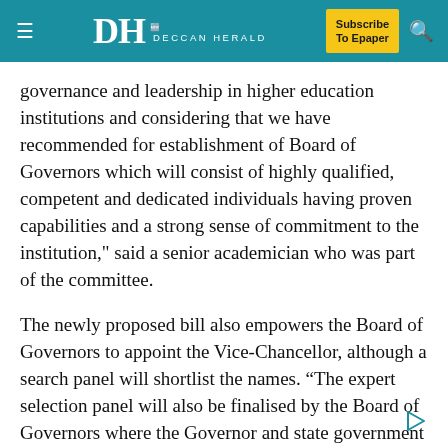DH DECCAN HERALD — Subscribe To Epaper
governance and leadership in higher education institutions and considering that we have recommended for establishment of Board of Governors which will consist of highly qualified, competent and dedicated individuals having proven capabilities and a strong sense of commitment to the institution," said a senior academician who was part of the committee.
The newly proposed bill also empowers the Board of Governors to appoint the Vice-Chancellor, although a search panel will shortlist the names. “The expert selection panel will also be finalised by the Board of Governors where the Governor and state government will nominate their representatives," explained a member of the committee that